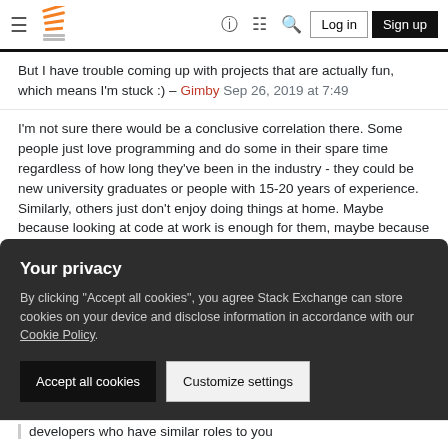Stack Exchange navigation bar with hamburger menu, logo, help, chat, search icons, Log in and Sign up buttons
But I have trouble coming up with projects that are actually fun, which means I'm stuck :) – Gimby Sep 26, 2019 at 7:49
I'm not sure there would be a conclusive correlation there. Some people just love programming and do some in their spare time regardless of how long they've been in the industry - they could be new university graduates or people with 15-20 years of experience. Similarly, others just don't enjoy doing things at home. Maybe because looking at code at work is enough for them, maybe because they just went with programming for the money and don't really like it overall. Or others. I've met both of types - who like or don't like
Your privacy
By clicking "Accept all cookies", you agree Stack Exchange can store cookies on your device and disclose information in accordance with our Cookie Policy.
Accept all cookies
Customize settings
developers who have similar roles to you